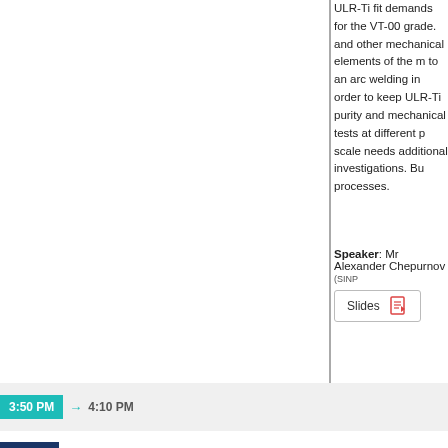ULR-Ti fit demands for the VT-00 grade. and other mechanical elements of the m... to an arc welding in order to keep ULR-Ti... purity and mechanical tests at different p... scale needs additional investigations. Bu... processes.
Speaker: Mr Alexander Chepurnov (SINP...
Slides
3:50 PM → 4:10 PM
Session 8: Purification techniques for solids
Convener: Prof. Mark Chen (Queen's University)
4:10 PM
MoO3 and NaI powder purification
The AMoRE (Advanced Mo based Rare p... molybdate-based crystals. The COSINE c... to refute the DAMA signal. Since there ar... crystal, one of important programs in the... internal radioactive contamination. In th... from aqueous solution were used as pur...